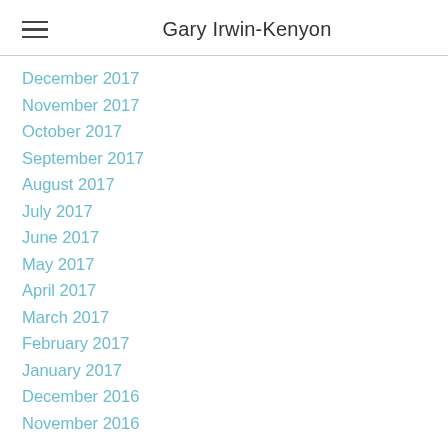Gary Irwin-Kenyon
December 2017
November 2017
October 2017
September 2017
August 2017
July 2017
June 2017
May 2017
April 2017
March 2017
February 2017
January 2017
December 2016
November 2016
Categories
All